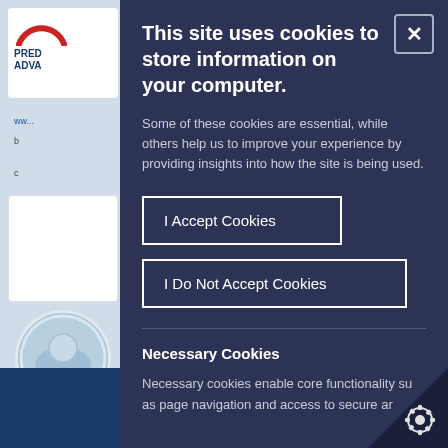[Figure (screenshot): Background of a website with logo top left reading PRED / ADVA, some web content text, a circular device image, and a blue navigation bar at the bottom left.]
This site uses cookies to store information on your computer.
Some of these cookies are essential, while others help us to improve your experience by providing insights into how the site is being used.
I Accept Cookies
I Do Not Accept Cookies
Necessary Cookies
Necessary cookies enable core functionality su as page navigation and access to secure ar